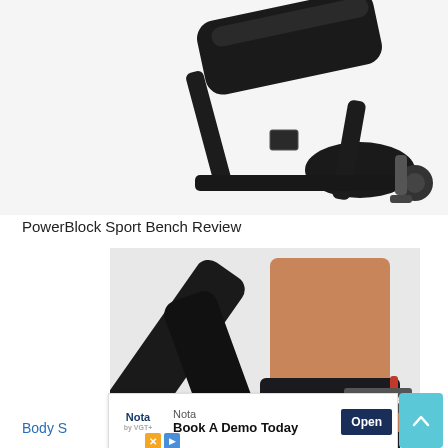[Figure (photo): Close-up photo of a black PowerBlock sport weight bench, showing the padded seat and frame structure on white background]
PowerBlock Sport Bench Review
[Figure (photo): Photo of a fitness bench with a woman in athletic wear standing beside it, showing the X-frame structure of the bench]
Close X
[Figure (screenshot): Advertisement banner: Nota logo, text 'Nota Book A Demo Today', Open button]
Body S